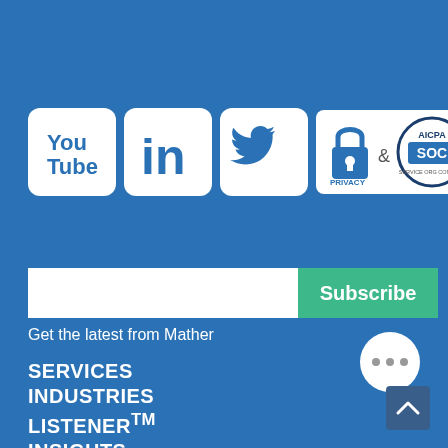[Figure (logo): Social media icons: YouTube, LinkedIn, Twitter, Privacy Policy lock icon, and AICPA SOC certification badge]
[Figure (infographic): Email subscription input field with green Subscribe button]
Get the latest from Mather
SERVICES
INDUSTRIES
LISTENER™
INSIGHTS
ABOUT US
[Figure (illustration): White chat bubble with three dots]
[Figure (illustration): Scroll to top button with upward chevron]